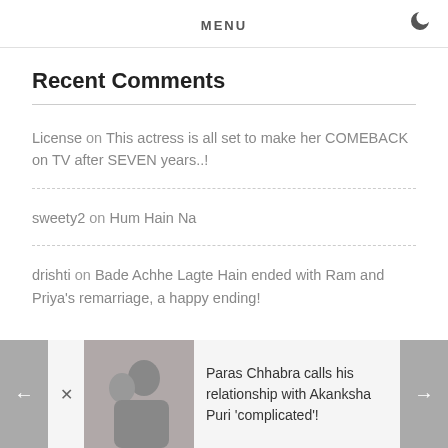MENU
Recent Comments
License on This actress is all set to make her COMEBACK on TV after SEVEN years..!
sweety2 on Hum Hain Na
drishti on Bade Achhe Lagte Hain ended with Ram and Priya's remarriage, a happy ending!
Paras Chhabra calls his relationship with Akanksha Puri 'complicated'!